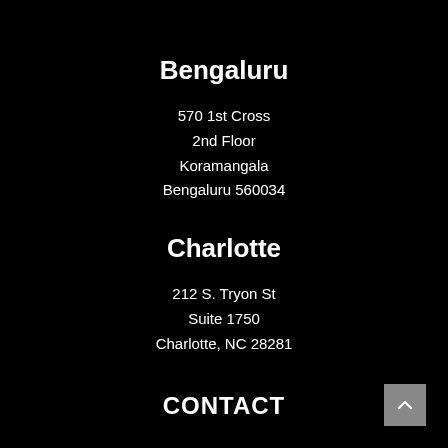Bengaluru
570 1st Cross
2nd Floor
Koramangala
Bengaluru 560034
Charlotte
212 S. Tryon St
Suite 1750
Charlotte, NC 28281
CONTACT
Learn more
hello@magnifi.com
Questions & Support